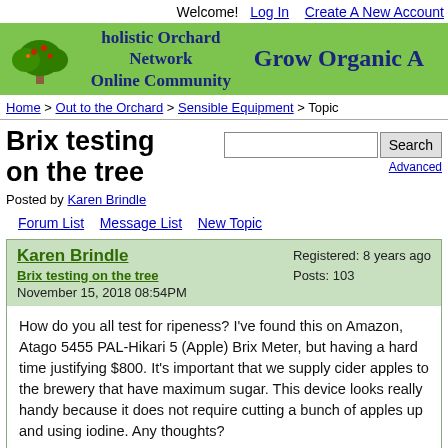Welcome!  Log In  Create A New Account
[Figure (logo): Holistic Orchard Network Online Community banner with tree logo and 'Grow Organic A...' text on green background]
Home > Out to the Orchard > Sensible Equipment > Topic
Brix testing on the tree
Posted by Karen Brindle
Forum List   Message List   New Topic
Karen Brindle
Brix testing on the tree
November 15, 2018 08:54PM
Registered: 8 years ago
Posts: 103
How do you all test for ripeness? I've found this on Amazon, Atago 5455 PAL-Hikari 5 (Apple) Brix Meter, but having a hard time justifying $800. It's important that we supply cider apples to the brewery that have maximum sugar. This device looks really handy because it does not require cutting a bunch of apples up and using iodine. Any thoughts?